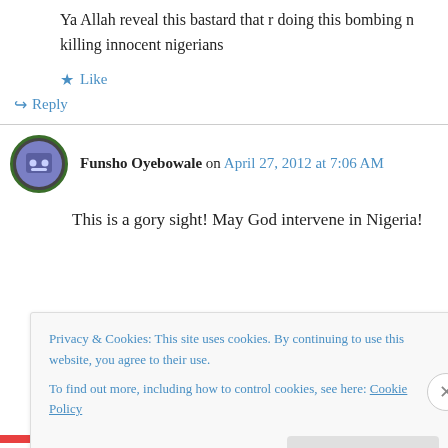Ya Allah reveal this bastard that r doing this bombing n killing innocent nigerians
★ Like
↳ Reply
Funsho Oyebowale on April 27, 2012 at 7:06 AM
This is a gory sight! May God intervene in Nigeria!
Privacy & Cookies: This site uses cookies. By continuing to use this website, you agree to their use.
To find out more, including how to control cookies, see here: Cookie Policy
Close and accept